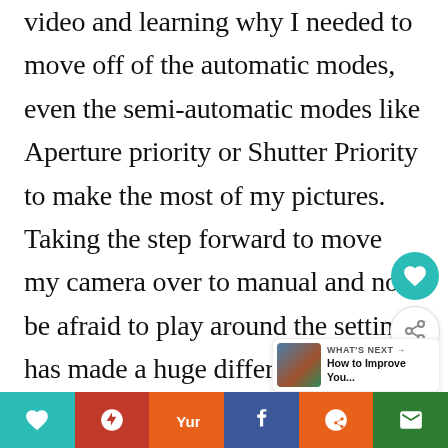video and learning why I needed to move off of the automatic modes, even the semi-automatic modes like Aperture priority or Shutter Priority to make the most of my pictures. Taking the step forward to move my camera over to manual and not be afraid to play around the settings has made a huge difference in my photography! All the different aspects of my camera, including
[Figure (screenshot): Social sharing sidebar with heart/like button (teal circle) and share button (white circle with share icon)]
[Figure (screenshot): What's Next box showing a thumbnail image and text 'WHAT'S NEXT → How to Improve You...']
[Figure (screenshot): Bottom social sharing bar with teal heart, red Pinterest, orange Yummly, blue Facebook, orange Reddit, and green Email buttons]